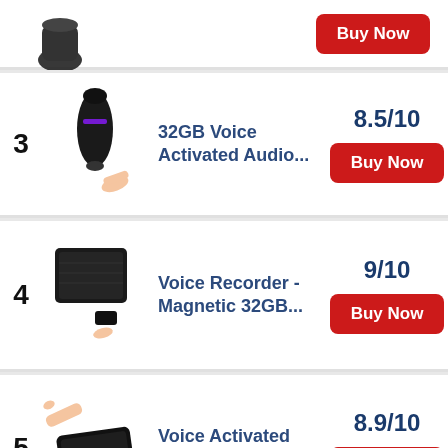Buy Now (row top, partial)
3 | 32GB Voice Activated Audio... | 8.5/10 | Buy Now
4 | Voice Recorder - Magnetic 32GB... | 9/10 | Buy Now
5 | Voice Activated Recorder with... | 8.9/10 | Buy Now
8.3/10 (partial row bottom)